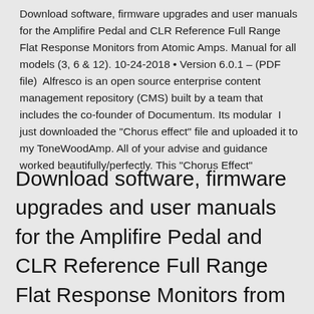Download software, firmware upgrades and user manuals for the Amplifire Pedal and CLR Reference Full Range Flat Response Monitors from Atomic Amps. Manual for all models (3, 6 & 12). 10-24-2018 • Version 6.0.1 – (PDF file)  Alfresco is an open source enterprise content management repository (CMS) built by a team that includes the co-founder of Documentum. Its modular  I just downloaded the "Chorus effect" file and uploaded it to my ToneWoodAmp. All of your advise and guidance worked beautifully/perfectly. This "Chorus Effect"
Download software, firmware upgrades and user manuals for the Amplifire Pedal and CLR Reference Full Range Flat Response Monitors from Atomic Amps. Manual for all models (3, 6 & 12). 10-24-